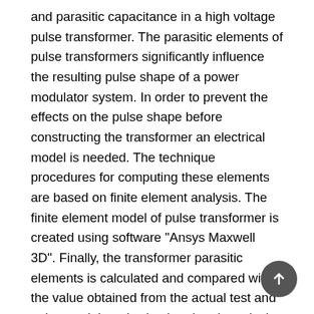and parasitic capacitance in a high voltage pulse transformer. The parasitic elements of pulse transformers significantly influence the resulting pulse shape of a power modulator system. In order to prevent the effects on the pulse shape before constructing the transformer an electrical model is needed. The technique procedures for computing these elements are based on finite element analysis. The finite element model of pulse transformer is created using software "Ansys Maxwell 3D". Finally, the transformer parasitic elements is calculated and compared with the value obtained from the actual test and pulse modulator is simulated and results is compared with actual test of pulse modulator. The results obtained are very similar with the test values.
Keywords: pulse transformer, simulation, modeling, Maxwell 3D, modulator